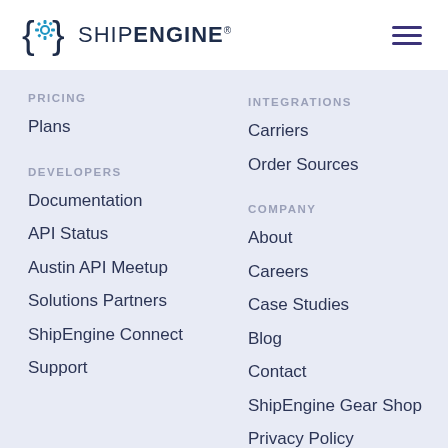[Figure (logo): ShipEngine logo with gear icon in brackets and wordmark]
PRICING
Plans
DEVELOPERS
Documentation
API Status
Austin API Meetup
Solutions Partners
ShipEngine Connect
Support
INTEGRATIONS
Carriers
Order Sources
COMPANY
About
Careers
Case Studies
Blog
Contact
ShipEngine Gear Shop
Privacy Policy
Terms of Service